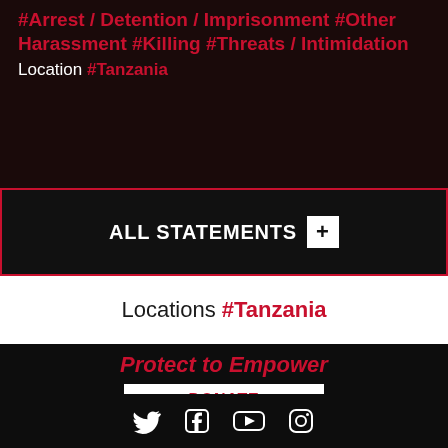#Arrest / Detention / Imprisonment #Other Harassment #Killing #Threats / Intimidation Location #Tanzania
ALL STATEMENTS +
Locations #Tanzania
Protect to Empower
DONATE
SIGN UP
[Figure (illustration): Social media icons: Twitter, Facebook, YouTube, Instagram]